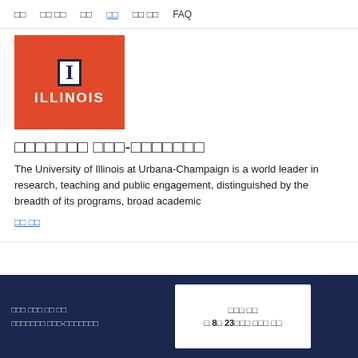□□  □□ □□  □□  □□  □□ □□  FAQ
[Figure (logo): University of Illinois logo: red background with block letter I and text ILLINOIS in white]
□□□□□□□ □□□-□□□□□□□
The University of Illinois at Urbana-Champaign is a world leader in research, teaching and public engagement, distinguished by the breadth of its programs, broad academic
□□ □□
□□□ □□□ □□ □□
□□□□□□□ □□□-□□□□□□□    □□□ □□
□ 8□ 23□□□ □□□ □□